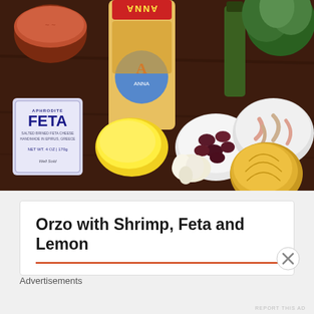[Figure (photo): Food ingredients on a dark wooden table: a pot of tomato sauce, a bag of Anna brand orzo pasta, a bottle of olive oil, fresh herbs, a package of Aphrodite Feta cheese, a lemon, a bowl of kalamata olives, a bowl of raw shrimp, garlic cloves, and a yellow onion.]
Orzo with Shrimp, Feta and Lemon
Advertisements